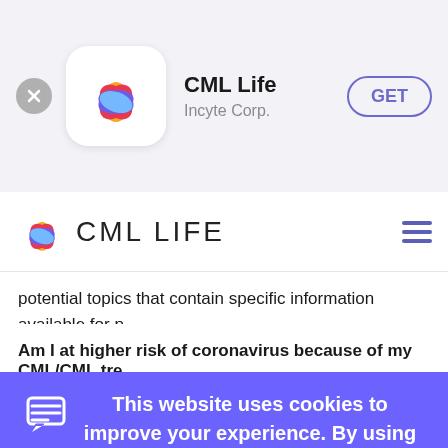[Figure (screenshot): App Store banner showing CML Life app by Incyte Corp. with a flower logo icon and a GET button]
CML LIFE
potential topics that contain specific information available for p… living with CML during the COVID-19 pandemic.
Am I at higher risk of coronavirus because of my CML/CML tre…
This website uses cookies to improve your experience. By using the website, you consent to all cookies in accordance with our Cookie Policy.
Ok